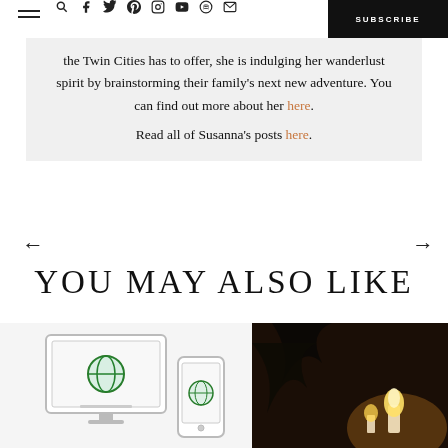SUBSCRIBE
the Twin Cities has to offer, she is indulging her wanderlust spirit by brainstorming their family's next new adventure. You can find out more about her here.
Read all of Susanna's posts here.
YOU MAY ALSO LIKE
[Figure (illustration): Illustration of a desktop monitor and smartphone displaying a travel/globe logo]
[Figure (photo): Dark atmospheric photo with glowing candles]